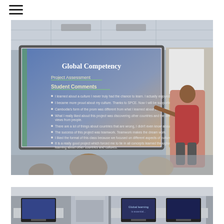[Figure (photo): A teacher standing at the front of a classroom pointing at a projector screen showing a presentation slide titled 'Global Competency' with sections for 'Project Assessment' and 'Student Comments' with several bullet points. Audience members are visible in the foreground.]
[Figure (photo): A classroom with computer workstations. Monitors are visible on desks with room dividers. A screen in the background shows text starting with 'Global learning'.]